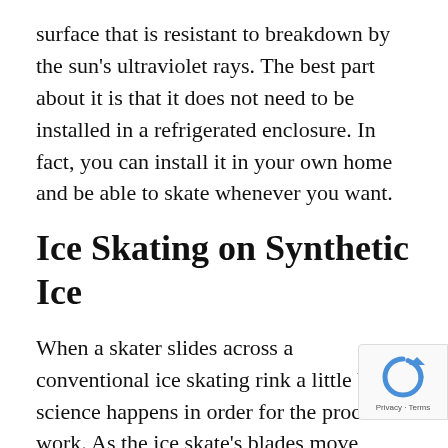surface that is resistant to breakdown by the sun's ultraviolet rays. The best part about it is that it does not need to be installed in a refrigerated enclosure. In fact, you can install it in your own home and be able to skate whenever you want.
Ice Skating on Synthetic Ice
When a skater slides across a conventional ice skating rink a little bit of science happens in order for the process to work. As the ice skate's blades move across the surface of the ice the friction causes just enough heat to melt a thin layer of water just big enough for the blades of the skates to gently glide across the surface of the ice. The water acts as a lubricant and allows for a smooth experience as the skater skates